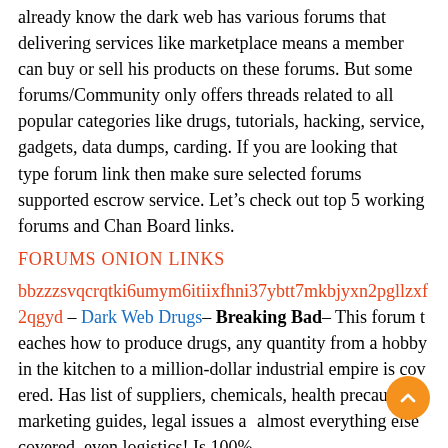already know the dark web has various forums that delivering services like marketplace means a member can buy or sell his products on these forums. But some forums/Community only offers threads related to all popular categories like drugs, tutorials, hacking, service, gadgets, data dumps, carding. If you are looking that type forum link then make sure selected forums supported escrow service. Let's check out top 5 working forums and Chan Board links.
FORUMS ONION LINKS
bbzzzsvqcrqtki6umym6itiixfhni37ybtt7mkbjyxn2pgllzxf2qgyd – Dark Web Drugs– Breaking Bad– This forum teaches how to produce drugs, any quantity from a hobby in the kitchen to a million-dollar industrial empire is covered. Has list of suppliers, chemicals, health precautions, marketing guides, legal issues and almost everything else covered, even logistics! Is 100% ...